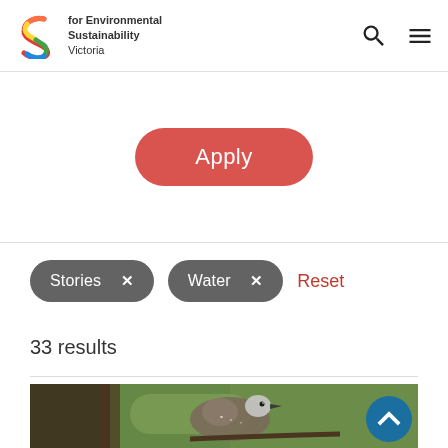for Environmental Sustainability Victoria
Apply
Stories ×   Water ×   Reset
33 results
[Figure (photo): Close-up photo of a bird (appears to be a small brown/white speckled bird) perched on a branch, with a blurred green background.]